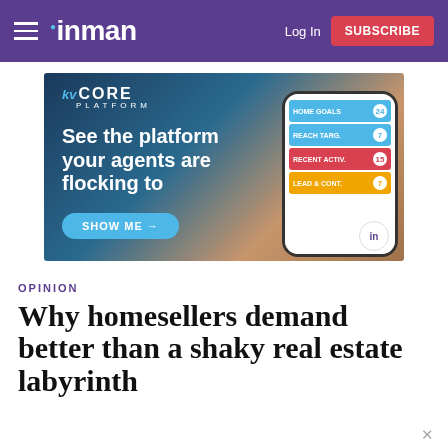inman — Log in | SUBSCRIBE
[Figure (screenshot): kvCORE Platform advertisement banner showing 'See the platform your agents are flocking to' with a phone mockup and SHOW ME button]
OPINION
Why homesellers demand better than a shaky real estate labyrinth